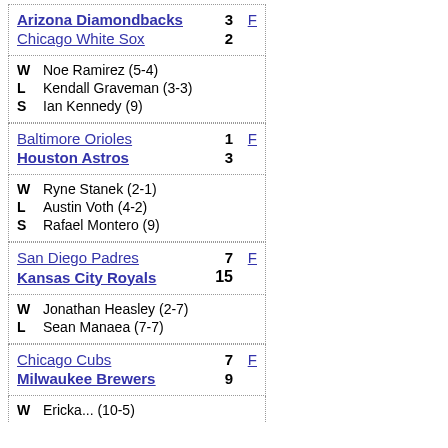| Arizona Diamondbacks | 3 | F |
| Chicago White Sox | 2 |  |
W  Noe Ramirez (5-4)
L  Kendall Graveman (3-3)
S  Ian Kennedy (9)
| Baltimore Orioles | 1 | F |
| Houston Astros | 3 |  |
W  Ryne Stanek (2-1)
L  Austin Voth (4-2)
S  Rafael Montero (9)
| San Diego Padres | 7 | F |
| Kansas City Royals | 15 |  |
W  Jonathan Heasley (2-7)
L  Sean Manaea (7-7)
| Chicago Cubs | 7 | F |
| Milwaukee Brewers | 9 |  |
W  Erick... (10-5)